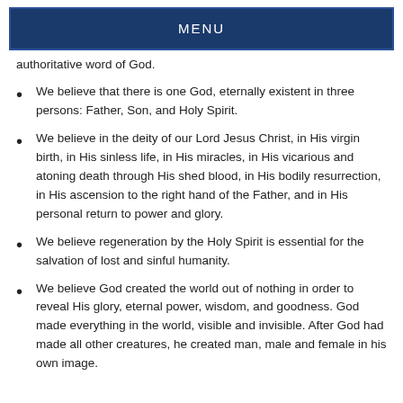MENU
authoritative word of God.
We believe that there is one God, eternally existent in three persons: Father, Son, and Holy Spirit.
We believe in the deity of our Lord Jesus Christ, in His virgin birth, in His sinless life, in His miracles, in His vicarious and atoning death through His shed blood, in His bodily resurrection, in His ascension to the right hand of the Father, and in His personal return to power and glory.
We believe regeneration by the Holy Spirit is essential for the salvation of lost and sinful humanity.
We believe God created the world out of nothing in order to reveal His glory, eternal power, wisdom, and goodness. God made everything in the world, visible and invisible. After God had made all other creatures, he created man, male and female in his own image.